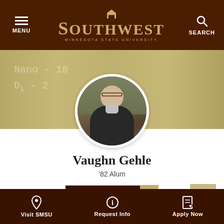MENU | SOUTHWEST MINNESOTA STATE UNIVERSITY | SEARCH
[Figure (photo): Profile photo of Vaughn Gehle, a man with glasses and grey beard wearing a black jacket, standing in front of a chalkboard. Photo is displayed in a circular frame.]
Vaughn Gehle
'82 Alum
Biology
MORE INFO
CLOSE
Visit SMSU | Request Info | Apply Now